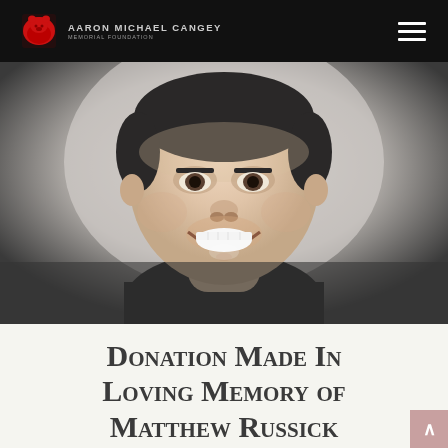Aaron Michael Cangey Memorial Foundation
[Figure (photo): Close-up portrait photo of a smiling man with short dark hair wearing a black shirt, against a grey gradient background]
Donation Made In Loving Memory of Matthew Russick